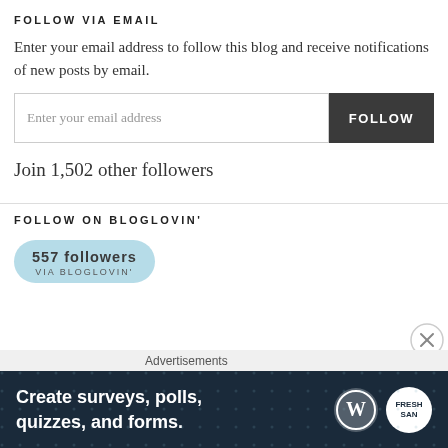FOLLOW VIA EMAIL
Enter your email address to follow this blog and receive notifications of new posts by email.
Join 1,502 other followers
FOLLOW ON BLOGLOVIN'
557 followers VIA BLOGLOVIN'
Advertisements
Create surveys, polls, quizzes, and forms.